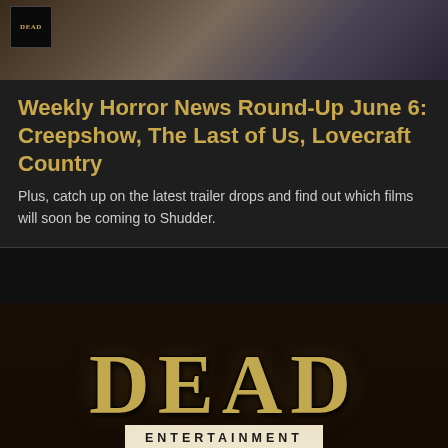[Figure (photo): Dark background image showing a man's face, with a small DEAD badge/logo in the upper left corner]
Weekly Horror News Round-Up June 6: Creepshow, The Last of Us, Lovecraft Country
Plus, catch up on the latest trailer drops and find out which films will soon be coming to Shudder.
[Figure (logo): DEAD ENTERTAINMENT logo — large distressed gold/cream lettering for DEAD, with ENTERTAINMENT in a beige banner below]
GAMING | MOVIES | TV VIDEOS | REVIEWS | FEATURES